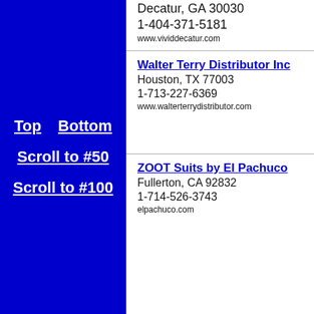Decatur, GA 30030
1-404-371-5181
www.vividdecatur.com
Top | Bottom | Scroll to #50 | Scroll to #100
Walter Terry Distributor Inc
Houston, TX 77003
1-713-227-6369
www.walterterrydistributor.com
ZOOT Suits by El Pachuco
Fullerton, CA 92832
1-714-526-3743
elpachuco.com